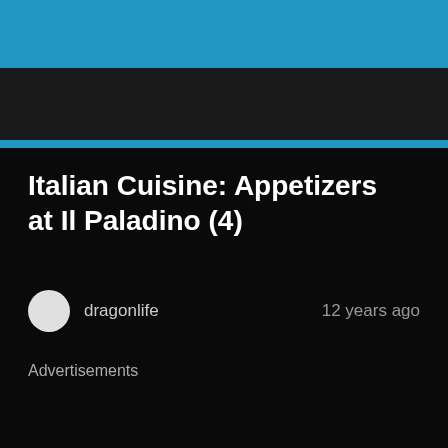Italian Cuisine: Appetizers at Il Paladino (4)
dragonlife
12 years ago
Advertisements